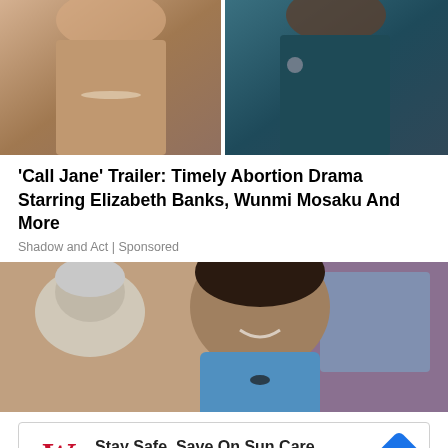[Figure (photo): Split image: left side shows a blonde woman from chin to chest wearing a pearl necklace and tan top; right side shows a Black woman's profile with hoop earrings and teal top]
'Call Jane' Trailer: Timely Abortion Drama Starring Elizabeth Banks, Wunmi Mosaku And More
Shadow and Act | Sponsored
[Figure (photo): A smiling Black female nurse or healthcare worker with curly hair in blue scrubs, leaning toward an elderly white-haired patient]
[Figure (infographic): Walgreens advertisement banner: Stay Safe, Save On Sun Care - Walgreens Photo, with Walgreens logo and blue arrow icon]